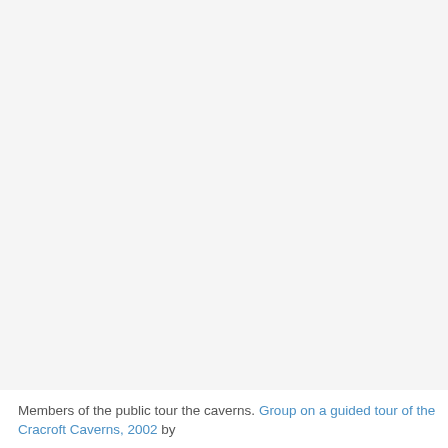[Figure (photo): A photo of members of the public touring the caverns (largely white/blank area in the scan).]
Members of the public tour the caverns. Group on a guided tour of the Cracroft Caverns, 2002 by